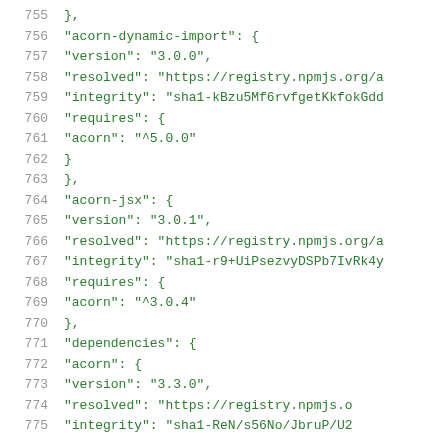Code listing lines 755-775 of a package-lock.json file showing acorn-dynamic-import and acorn-jsx package entries with version, resolved, integrity, requires, and dependencies fields.